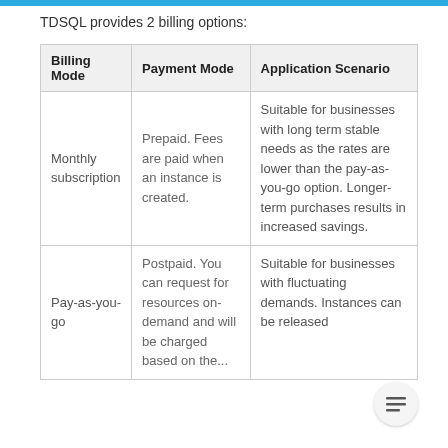TDSQL provides 2 billing options:
| Billing Mode | Payment Mode | Application Scenario |
| --- | --- | --- |
| Monthly subscription | Prepaid. Fees are paid when an instance is created. | Suitable for businesses with long term stable needs as the rates are lower than the pay-as-you-go option. Longer-term purchases results in increased savings. |
| Pay-as-you-go | Postpaid. You can request for resources on-demand and will be charged based on the... | Suitable for businesses with fluctuating demands. Instances can be released... |